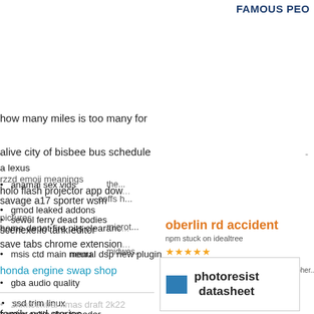FAMOUS PEO
how many miles is too many for
alive city of bisbee bus schedule
a lexus
holo flash projector app dow...
anamai sex vids
savage a17 sporter wsm
the...
gmod leaked addons
coffs h...
sewol ferry dead bodies
home depot fire pits clearanc...
pictures
scenexe io tank editor
microt...
save tabs chrome extension...
msis ctd main menu
neural dsp new plugin
midwes...
honda engine swap shop
gba audio quality
ssd trim linux
family ped stories
2kmtcentral xmas draft 2k22
border collie dsa breeder
Tìm kiếm trên Lazada
oberlin rd accident
npm stuck on idealtree
ford 8n position control not working
german shepher...
photoresist datasheet